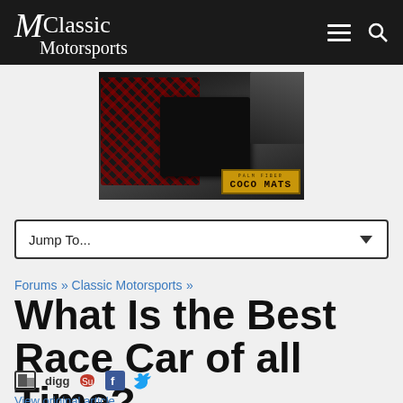Classic Motorsports
[Figure (photo): Car floor mats — dark engine bay or interior with red/black woven coco mats and a COCO MATS advertisement badge in gold/yellow]
Jump To...
Forums » Classic Motorsports »
What Is the Best Race Car of all Time?
View original article